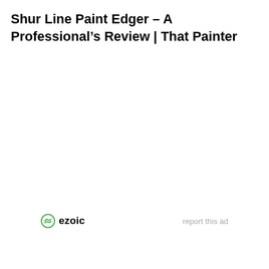Shur Line Paint Edger – A Professional's Review | That Painter
[Figure (logo): Ezoic logo with circular icon and 'ezoic' text in bold]
report this ad